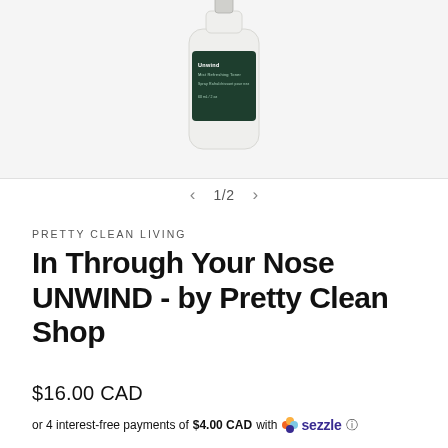[Figure (photo): Product photo of a small frosted glass spray bottle with a dark green label reading 'Unwind, Mist Refreshing Toner']
1/2
PRETTY CLEAN LIVING
In Through Your Nose UNWIND - by Pretty Clean Shop
$16.00 CAD
or 4 interest-free payments of $4.00 CAD with Sezzle ⓘ